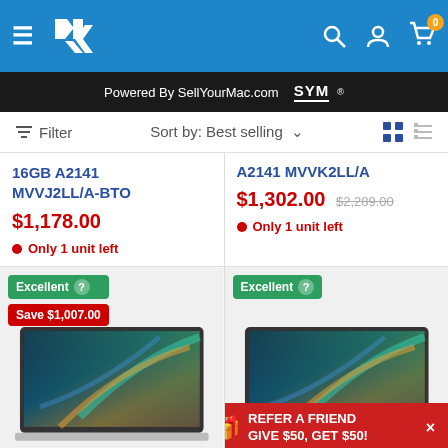Header navigation with logo, search, account, and cart icons
Powered By SellYourMac.com SYM®
Filter  Sort by: Best selling
16GB A2141 MVVJ2LL/A-BTO
$1,178.00
Only 1 unit left
A2141 MVVK2LL/A
$1,302.00  $2,289.00
Only 1 unit left
Excellent
Save $1,007.00
[Figure (screenshot): MacBook Pro laptop product image with colorful wallpaper]
Excellent
[Figure (screenshot): MacBook Pro laptop product image with colorful wallpaper]
REFER A FRIEND GIVE $50, GET $50!